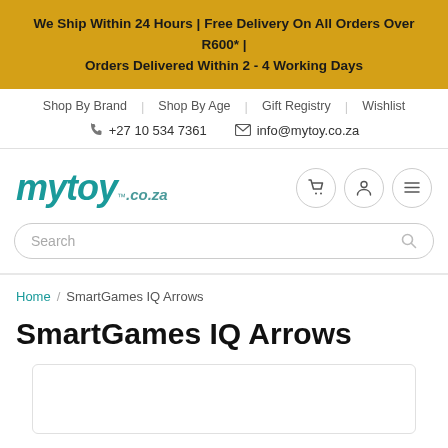We Ship Within 24 Hours | Free Delivery On All Orders Over R600* | Orders Delivered Within 2 - 4 Working Days
Shop By Brand | Shop By Age | Gift Registry | Wishlist
📞 +27 10 534 7361  ✉ info@mytoy.co.za
[Figure (logo): mytoy.co.za logo in teal italic font]
Search
Home / SmartGames IQ Arrows
SmartGames IQ Arrows